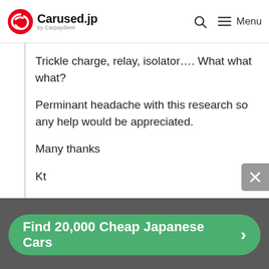Carused.jp by Carpaydiem | Firstly - Is connecting AGM to lead acid ok and secondly what other kit would I need ...
Trickle charge, relay, isolator.... What what what?

Perminant headache with this research so any help would be appreciated.

Many thanks

Kt

□□
[Figure (other): Green CTA button with text 'Find 20,000 Cheap Japanese Cars' and a right arrow, on a grey background bar]